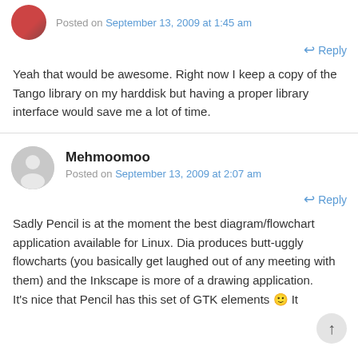Posted on September 13, 2009 at 1:45 am
Reply
Yeah that would be awesome. Right now I keep a copy of the Tango library on my harddisk but having a proper library interface would save me a lot of time.
Mehmoomoo
Posted on September 13, 2009 at 2:07 am
Reply
Sadly Pencil is at the moment the best diagram/flowchart application available for Linux. Dia produces butt-uggly flowcharts (you basically get laughed out of any meeting with them) and the Inkscape is more of a drawing application. It's nice that Pencil has this set of GTK elements 🙂 It